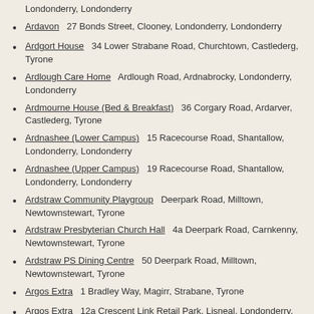Londonderry, Londonderry
Ardavon   27 Bonds Street, Clooney, Londonderry, Londonderry
Ardgort House   34 Lower Strabane Road, Churchtown, Castlederg, Tyrone
Ardlough Care Home   Ardlough Road, Ardnabrocky, Londonderry, Londonderry
Ardmourne House (Bed & Breakfast)   36 Corgary Road, Ardarver, Castlederg, Tyrone
Ardnashee (Lower Campus)   15 Racecourse Road, Shantallow, Londonderry, Londonderry
Ardnashee (Upper Campus)   19 Racecourse Road, Shantallow, Londonderry, Londonderry
Ardstraw Community Playgroup   Deerpark Road, Milltown, Newtownstewart, Tyrone
Ardstraw Presbyterian Church Hall   4a Deerpark Road, Carnkenny, Newtownstewart, Tyrone
Ardstraw PS Dining Centre   50 Deerpark Road, Milltown, Newtownstewart, Tyrone
Argos Extra   1 Bradley Way, Magirr, Strabane, Tyrone
Argos Extra   12a Crescent Link Retail Park, Lisneal, Londonderry, Londonderry
Argyle Arms   69-75 Argyle Street, Edenballymore, Londonderry, Londonderry
Arkle House   2 Coshquin Road, Ballymagrорty, Londonderry,